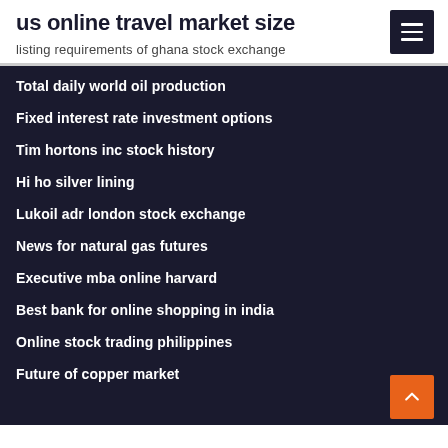us online travel market size
listing requirements of ghana stock exchange
Total daily world oil production
Fixed interest rate investment options
Tim hortons inc stock history
Hi ho silver lining
Lukoil adr london stock exchange
News for natural gas futures
Executive mba online harvard
Best bank for online shopping in india
Online stock trading philippines
Future of copper market